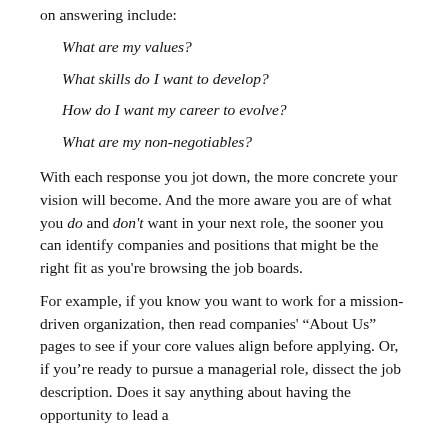on answering include:
What are my values?
What skills do I want to develop?
How do I want my career to evolve?
What are my non-negotiables?
With each response you jot down, the more concrete your vision will become. And the more aware you are of what you do and don't want in your next role, the sooner you can identify companies and positions that might be the right fit as you're browsing the job boards.
For example, if you know you want to work for a mission-driven organization, then read companies' “About Us” pages to see if your core values align before applying. Or, if you’re ready to pursue a managerial role, dissect the job description. Does it say anything about having the opportunity to lead a